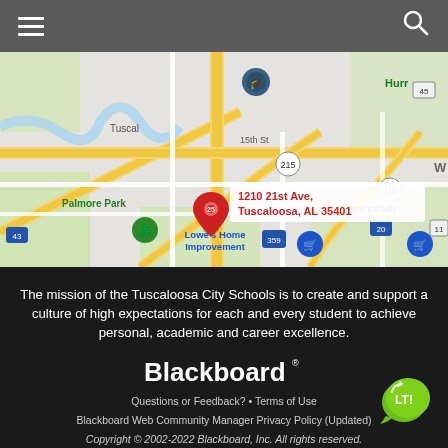Navigation header with hamburger menu and search icon
[Figure (map): Google Map showing 1210 21st Ave, Tuscaloosa, AL 35401 with a red location pin. Nearby landmarks include Palmore Park, Lowe's Home Improvement, Sam's Club. Roads include 15th St, routes 215, 359, 43, 20, 11, 45.]
The mission of the Tuscaloosa City Schools is to create and support a culture of high expectations for each and every student to achieve personal, academic and career excellence.
[Figure (logo): Blackboard logo in white text with trademark symbol]
Questions or Feedback? • Terms of Use
Blackboard Web Community Manager Privacy Policy (Updated)
Copyright © 2002-2022 Blackboard, Inc. All rights reserved.